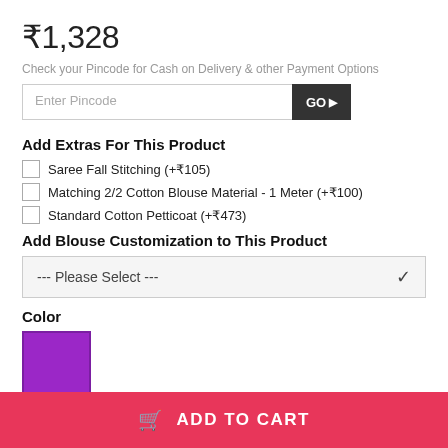₹1,328
Check your Pincode for Cash on Delivery & other Payment Options
Enter Pincode | GO▶
Add Extras For This Product
Saree Fall Stitching (+₹105)
Matching 2/2 Cotton Blouse Material - 1 Meter (+₹100)
Standard Cotton Petticoat (+₹473)
Add Blouse Customization to This Product
--- Please Select ---
Color
[Figure (illustration): Purple/violet color swatch square]
ADD TO CART